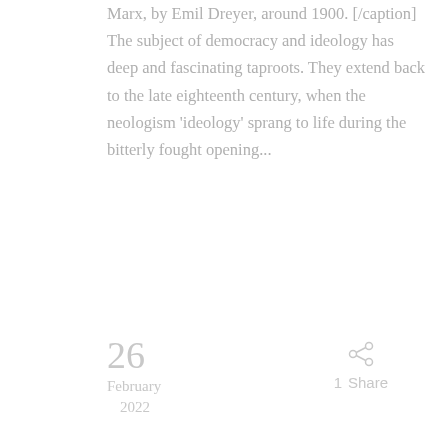Marx, by Emil Dreyer, around 1900. [/caption] The subject of democracy and ideology has deep and fascinating taproots. They extend back to the late eighteenth century, when the neologism 'ideology' sprang to life during the bitterly fought opening...
READ MORE
26
February 2022
1  Share